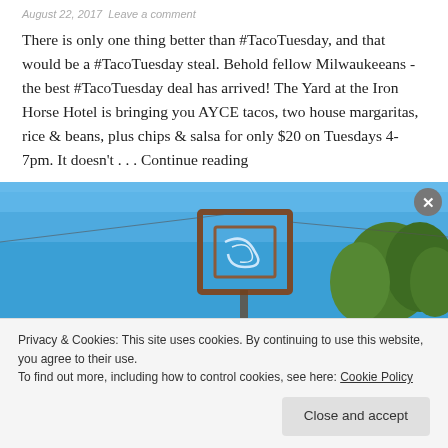August 22, 2017   Leave a comment
There is only one thing better than #TacoTuesday, and that would be a #TacoTuesday steal. Behold fellow Milwaukeeans - the best #TacoTuesday deal has arrived! The Yard at the Iron Horse Hotel is bringing you AYCE tacos, two house margaritas, rice & beans, plus chips & salsa for only $20 on Tuesdays 4-7pm. It doesn't . . . Continue reading
[Figure (photo): Outdoor photo with blue sky background, a decorative metal sign or structure, and trees with green foliage visible on the right side]
Privacy & Cookies: This site uses cookies. By continuing to use this website, you agree to their use.
To find out more, including how to control cookies, see here: Cookie Policy
Close and accept